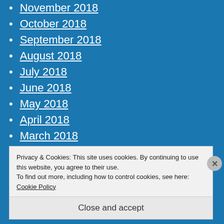November 2018
October 2018
September 2018
August 2018
July 2018
June 2018
May 2018
April 2018
March 2018
February 2018
January 2018
Privacy & Cookies: This site uses cookies. By continuing to use this website, you agree to their use.
To find out more, including how to control cookies, see here: Cookie Policy
Close and accept